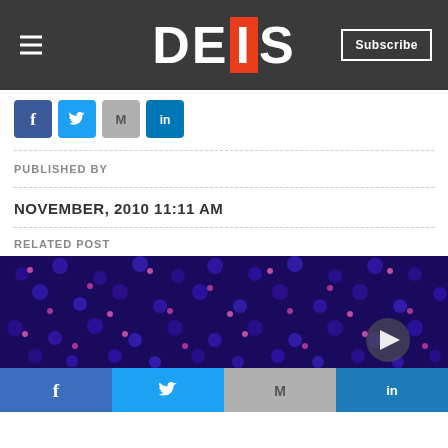DEIXIS — Subscribe
[Figure (screenshot): Social sharing icons: Facebook (blue), Twitter (light blue), Gmail (grey), LinkedIn (blue)]
PUBLISHED BY
NOVEMBER, 2010 11:11 AM
RELATED POST
[Figure (photo): Dark blue/purple microscopy image with scattered pink/magenta dots (particles), with a play/navigation arrow button overlay in the lower right corner]
Facebook Twitter Gmail LinkedIn share buttons